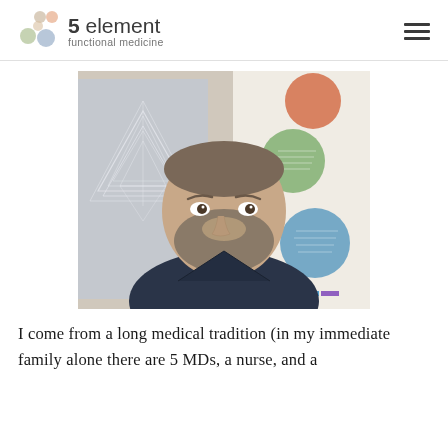5 element functional medicine
[Figure (photo): Portrait photo of a bearded man with shaved head wearing a dark navy shirt, seated in front of a wall with a Five Elements chart/poster showing colored circles labeled Water and other elements, and geometric sacred geometry artwork on the left side.]
I come from a long medical tradition (in my immediate family alone there are 5 MDs, a nurse, and a